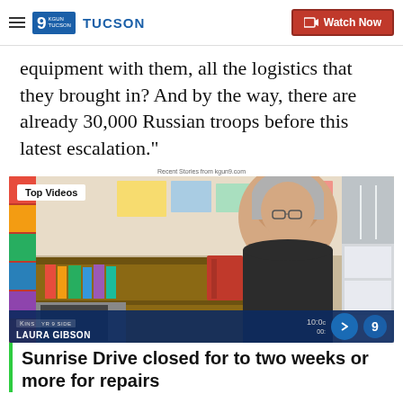9NEWS TUCSON | Watch Now
equipment with them, all the logistics that they brought in? And by the way, there are already 30,000 Russian troops before this latest escalation."
Recent Stories from kgun9.com
[Figure (screenshot): Video thumbnail showing a woman (Laura Gibson) in a classroom setting with a 'Top Videos' badge overlay and a blue lower bar with her name and a forward arrow button.]
Sunrise Drive closed for to two weeks or more for repairs